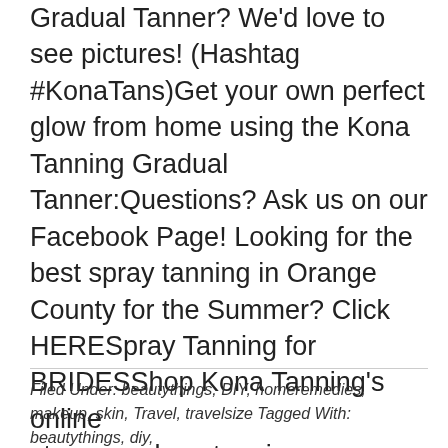Gradual Tanner?  We'd love to see pictures!  (Hashtag #KonaTans)Get your own perfect glow from home using the Kona Tanning Gradual Tanner:Questions?  Ask us on our Facebook Page! Looking for the best spray tanning in Orange County for the Summer?  Click HERESpray Tanning for BRIDESShop Kona Tanning's online storewww.konatanningcompany.comFollow us on Twitter and  Pinterest and join the conversation -Like us ... [Read more...]
Filed Under: beautythings, DIY, homeremedies, makeup, skin, Travel, travelsize Tagged With: beautythings, diy,